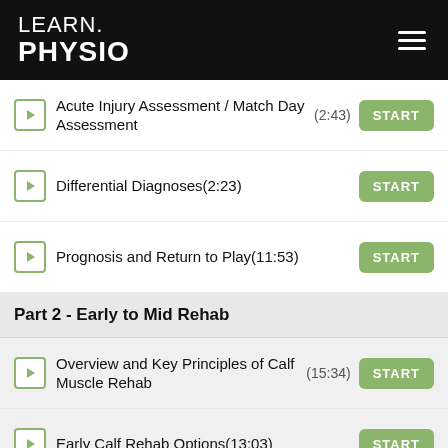LEARN. PHYSIO
Acute Injury Assessment / Match Day Assessment (2:43)
Differential Diagnoses (2:23)
Prognosis and Return to Play (11:53)
Part 2 - Early to Mid Rehab
Overview and Key Principles of Calf Muscle Rehab (15:34)
Early Calf Rehab Options (13:03)
Intermediate to End Phase Calf (15:43)